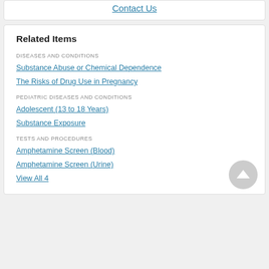Contact Us
Related Items
DISEASES AND CONDITIONS
Substance Abuse or Chemical Dependence
The Risks of Drug Use in Pregnancy
PEDIATRIC DISEASES AND CONDITIONS
Adolescent (13 to 18 Years)
Substance Exposure
TESTS AND PROCEDURES
Amphetamine Screen (Blood)
Amphetamine Screen (Urine)
View All 4